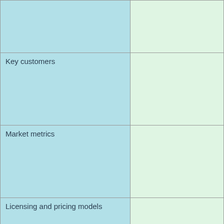|  |  |
| Key customers |  |
| Market metrics |  |
| Licensing and pricing models |  |
Wir laden Vertreter der Systemhersteller ein uns zu ko...